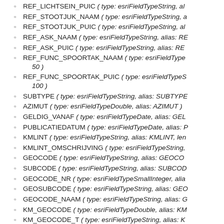REF_LICHTSEIN_PUIC ( type: esriFieldTypeString, al…
REF_STOOTJUK_NAAM ( type: esriFieldTypeString, a…
REF_STOOTJUK_PUIC ( type: esriFieldTypeString, al…
REF_ASK_NAAM ( type: esriFieldTypeString, alias: RE…
REF_ASK_PUIC ( type: esriFieldTypeString, alias: RE…
REF_FUNC_SPOORTAK_NAAM ( type: esriFieldType… 50 )
REF_FUNC_SPOORTAK_PUIC ( type: esriFieldTypeS… 100 )
SUBTYPE ( type: esriFieldTypeString, alias: SUBTYPE…
AZIMUT ( type: esriFieldTypeDouble, alias: AZIMUT )
GELDIG_VANAF ( type: esriFieldTypeDate, alias: GEL…
PUBLICATIEDATUM ( type: esriFieldTypeDate, alias: P…
KMLINT ( type: esriFieldTypeString, alias: KMLINT, len…
KMLINT_OMSCHRIJVING ( type: esriFieldTypeString,…
GEOCODE ( type: esriFieldTypeString, alias: GEOCO…
SUBCODE ( type: esriFieldTypeString, alias: SUBCOD…
GEOCODE_NR ( type: esriFieldTypeSmallInteger, alia…
GEOSUBCODE ( type: esriFieldTypeString, alias: GEO…
GEOCODE_NAAM ( type: esriFieldTypeString, alias: G…
KM_GEOCODE ( type: esriFieldTypeDouble, alias: KM…
KM_GEOCODE_T ( type: esriFieldTypeString, alias: K…
BEHEERDER ( type: esriFieldTypeString, alias: BEHE…
ONDERHOUDSREGIO_NAAM ( type: esriFieldTypeSt…